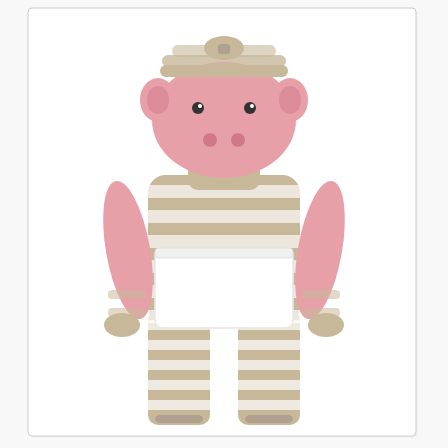[Figure (photo): A stuffed animal toy hippo with brown and white horizontal stripes on its body, legs, and head, pink face, ears, and arms, and a white apron/skirt around its midsection. The toy stands upright against a white background.]